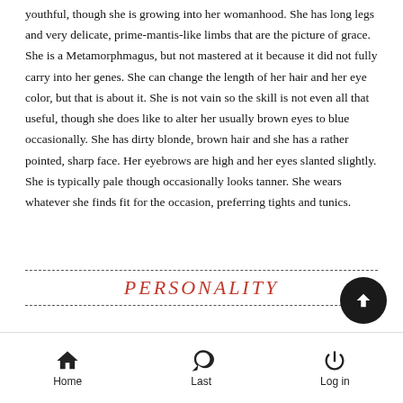youthful, though she is growing into her womanhood. She has long legs and very delicate, prime-mantis-like limbs that are the picture of grace. She is a Metamorphmagus, but not mastered at it because it did not fully carry into her genes. She can change the length of her hair and her eye color, but that is about it. She is not vain so the skill is not even all that useful, though she does like to alter her usually brown eyes to blue occasionally. She has dirty blonde, brown hair and she has a rather pointed, sharp face. Her eyebrows are high and her eyes slanted slightly. She is typically pale though occasionally looks tanner. She wears whatever she finds fit for the occasion, preferring tights and tunics.
PERSONALITY
Home  Last  Log in